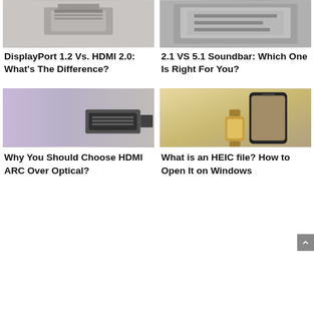[Figure (photo): Top-left thumbnail image for DisplayPort 1.2 vs HDMI 2.0 article]
[Figure (photo): Top-right thumbnail image for 2.1 VS 5.1 Soundbar article]
DisplayPort 1.2 Vs. HDMI 2.0: What's The Difference?
2.1 VS 5.1 Soundbar: Which One Is Right For You?
[Figure (photo): Bottom-left thumbnail image: HDMI ARC VS OPTICAL: WHICH IS BETTER? with WHAT IS overlay]
[Figure (photo): Bottom-right thumbnail image: HEIC VS. JPEG: WHICH IS BETTER? with WHAT IS overlay]
Why You Should Choose HDMI ARC Over Optical?
What is an HEIC file? How to Open It on Windows